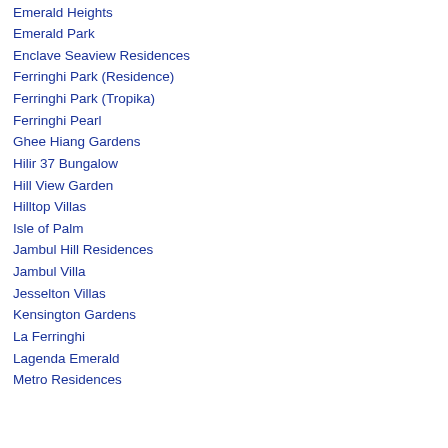Emerald Heights
Emerald Park
Enclave Seaview Residences
Ferringhi Park (Residence)
Ferringhi Park (Tropika)
Ferringhi Pearl
Ghee Hiang Gardens
Hilir 37 Bungalow
Hill View Garden
Hilltop Villas
Isle of Palm
Jambul Hill Residences
Jambul Villa
Jesselton Villas
Kensington Gardens
La Ferringhi
Lagenda Emerald
Metro Residences